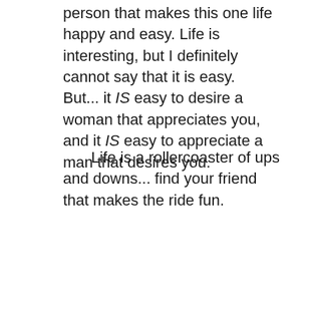person that makes this one life happy and easy. Life is interesting, but I definitely cannot say that it is easy.
But... it IS easy to desire a woman that appreciates you, and it IS easy to appreciate a man that desires you.
Life is a rollercoaster of ups and downs... find your friend that makes the ride fun.